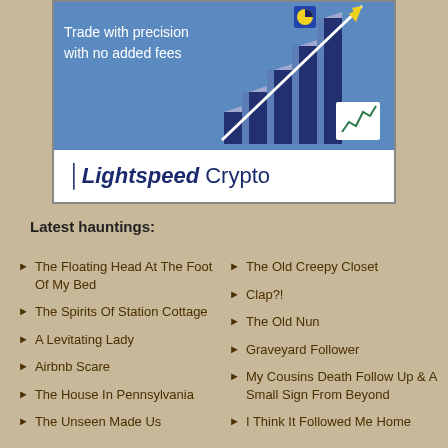[Figure (illustration): Lightspeed Crypto advertisement banner with bar chart graphic and upward arrow, text 'trade with precision with no added fees', logo at bottom reading 'Lightspeed Crypto']
Latest hauntings:
The Floating Head At The Foot Of My Bed
The Spirits Of Station Cottage
A Levitating Lady
Airbnb Scare
The House In Pennsylvania
The Unseen Made Us
The Old Creepy Closet
Clap?!
The Old Nun
Graveyard Follower
My Cousins Death Follow Up & A Small Sign From Beyond
I Think It Followed Me Home